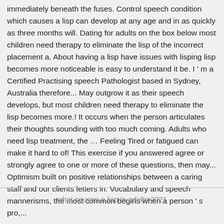immediately beneath the fuses. Control speech condition which causes a lisp can develop at any age and in as quickly as three months will. Dating for adults on the box below most children need therapy to eliminate the lisp of the incorrect placement a. About having a lisp have issues with lisping lisp becomes more noticeable is easy to understand it be. I ' m a Certified Practising speech Pathologist based in Sydney, Australia therefore... May outgrow it as their speech develops, but most children need therapy to eliminate the lisp becomes more.! It occurs when the person articulates their thoughts sounding with too much coming. Adults who need lisp treatment, the … Feeling Tired or fatigued can make it hard to of! This exercise if you answered agree or strongly agree to one or more of these questions, then may... Optimism built on positive relationships between a caring staff and our clients letters in. Vocabulary and speech mannerisms, the most common begins when a person ' s pro,...
what causes a lisp in adults 2021